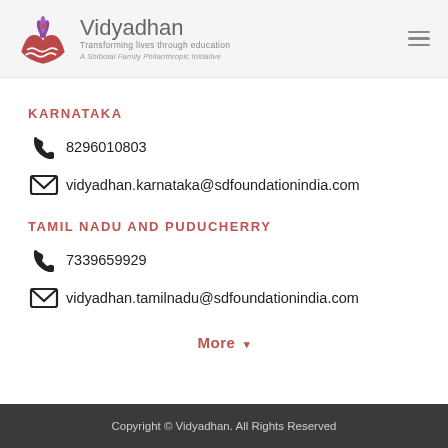[Figure (logo): Vidyadhan logo with lotus/hands graphic in red and purple, with text 'Vidyadhan', 'Transforming lives through education', 'A Shibolal Family Philanthropic Initiative']
KARNATAKA
8296010803
vidyadhan.karnataka@sdfoundationindia.com
TAMIL NADU AND PUDUCHERRY
7339659929
vidyadhan.tamilnadu@sdfoundationindia.com
More ▼
Copyright © Vidyadhan. All Rights Reserved